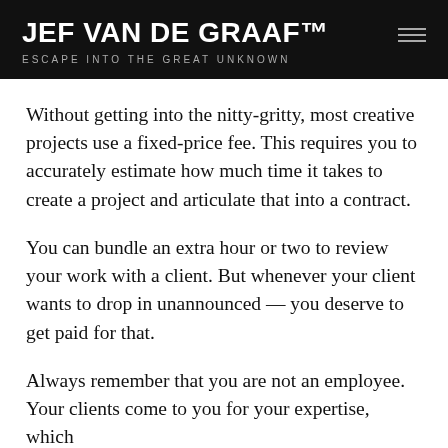JEF VAN DE GRAAF™
ESCAPE INTO THE GREAT UNKNOWN
Without getting into the nitty-gritty, most creative projects use a fixed-price fee. This requires you to accurately estimate how much time it takes to create a project and articulate that into a contract.
You can bundle an extra hour or two to review your work with a client. But whenever your client wants to drop in unannounced — you deserve to get paid for that.
Always remember that you are not an employee. Your clients come to you for your expertise, which